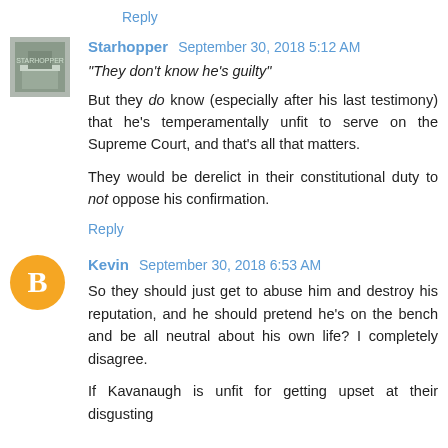Reply
Starhopper  September 30, 2018 5:12 AM
"They don't know he's guilty"
But they do know (especially after his last testimony) that he's temperamentally unfit to serve on the Supreme Court, and that's all that matters.
They would be derelict in their constitutional duty to not oppose his confirmation.
Reply
Kevin  September 30, 2018 6:53 AM
So they should just get to abuse him and destroy his reputation, and he should pretend he's on the bench and be all neutral about his own life? I completely disagree.
If Kavanaugh is unfit for getting upset at their disgusting